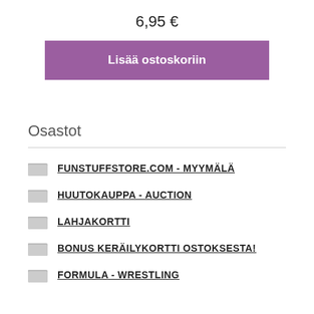6,95 €
Lisää ostoskoriin
Osastot
FUNSTUFFSTORE.COM - MYYMÄLÄ
HUUTOKAUPPA - AUCTION
LAHJAKORTTI
BONUS KERÄILYKORTTI OSTOKSESTA!
FORMULA - WRESTLING